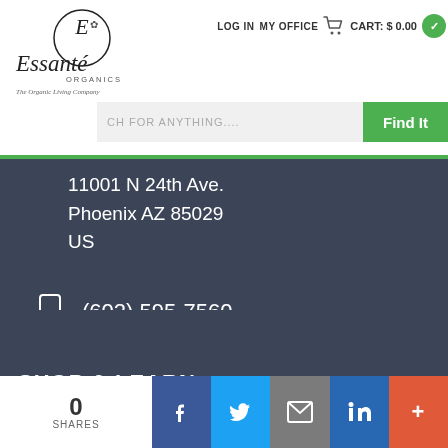LOG IN  MY OFFICE  CART: $0.00
[Figure (logo): Essante Organics logo with tagline 'The Organic Living Company']
SEARCH FOR ANYTHING....
11001 N 24th Ave.
Phoenix AZ 85029
US
(602) 595-7560
CustomerSupport@EssanteOrganics.com
SHOP & LEARN
0
SHARES